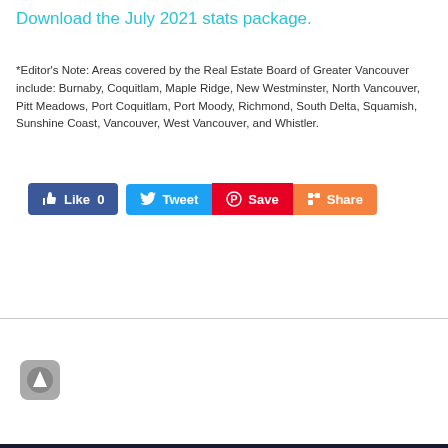Download the July 2021 stats package.
*Editor's Note: Areas covered by the Real Estate Board of Greater Vancouver include: Burnaby, Coquitlam, Maple Ridge, New Westminster, North Vancouver, Pitt Meadows, Port Coquitlam, Port Moody, Richmond, South Delta, Squamish, Sunshine Coast, Vancouver, West Vancouver, and Whistler.
[Figure (screenshot): Social sharing buttons: Like 0 (Facebook, blue), Tweet (Twitter, blue), Save (Pinterest, red), Share (orange)]
[Figure (other): Scroll-to-top button: rounded square gray icon with upward arrow]